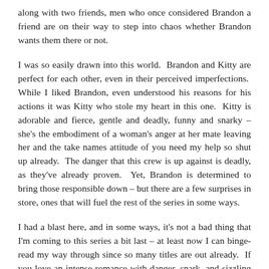along with two friends, men who once considered Brandon a friend are on their way to step into chaos whether Brandon wants them there or not.
I was so easily drawn into this world.  Brandon and Kitty are perfect for each other, even in their perceived imperfections.  While I liked Brandon, even understood his reasons for his actions it was Kitty who stole my heart in this one.  Kitty is adorable and fierce, gentle and deadly, funny and snarky – she's the embodiment of a woman's anger at her mate leaving her and the take names attitude of you need my help so shut up already.  The danger that this crew is up against is deadly, as they've already proven.  Yet, Brandon is determined to bring those responsible down – but there are a few surprises in store, ones that will fuel the rest of the series in some ways.
I had a blast here, and in some ways, it's not a bad thing that I'm coming to this series a bit last – at least now I can binge-read my way through since so many titles are out already.  If you love an intense romance with danger, snark, and sizzling chemistry then this story has it and then some for you.